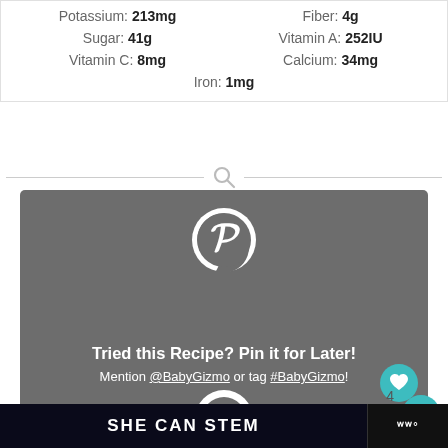Potassium: 213mg | Fiber: 4g | Sugar: 41g | Vitamin A: 252IU | Vitamin C: 8mg | Calcium: 34mg | Iron: 1mg
[Figure (screenshot): Pinterest banner with logo saying 'Tried this Recipe? Pin it for Later! Mention @BabyGizmo or tag #BabyGizmo!']
[Figure (screenshot): Green banner with text EASY HOMEMADE and pear illustrations]
[Figure (screenshot): Dark ad banner reading SHE CAN STEM with logo]